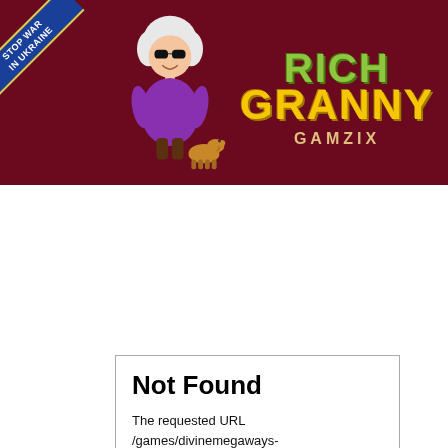[Figure (illustration): Rich Granny game banner with dark red background, a cartoon granny character wearing sunglasses and purple dress with a small dog, 'Rich Granny' logo text in green and yellow, 'GAMZIX' subtitle, and a Stop War in Ukraine ribbon in the top-left corner.]
Not Found
The requested URL /games/divinemegaways-